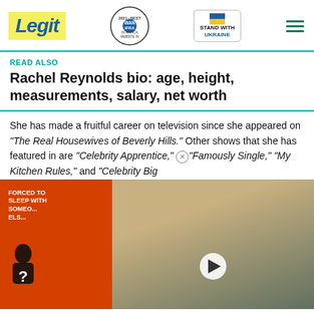[Figure (logo): Legit.ng website header with Legit logo, WAN-IFRA 2021 Best News Website in Africa badge, Stand With Ukraine badge, and hamburger menu]
READ ALSO
Rachel Reynolds bio: age, height, measurements, salary, net worth
She has made a fruitful career on television since she appeared on "The Real Housewives of Beverly Hills." Other shows that she has featured in are "Celebrity Apprentice," "Famously Single," "My Kitchen Rules," and "Celebrity Big Brother". She had a few experiences as a filmmaker: "Missing at 17", "The Sharknado: The 4th Awakens".
[Figure (screenshot): Video overlay showing a promotional video thumbnail with silhouette and text 'FORCED TO SLEEP WITH SOMEONE ELSE' in orange, alongside a photo of a blonde woman and a man in a suit, with a play button]
[Figure (photo): Advertisement banner for Topgolf Ashburn showing OPEN 10AM-11PM and address 20356 Commonwealth Center with navigation arrow]